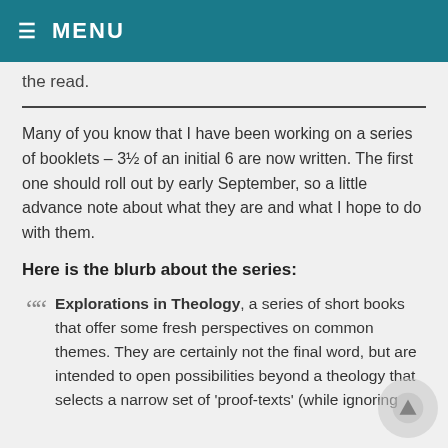≡ MENU
the read.
Many of you know that I have been working on a series of booklets – 3½ of an initial 6 are now written. The first one should roll out by early September, so a little advance note about what they are and what I hope to do with them.
Here is the blurb about the series:
Explorations in Theology, a series of short books that offer some fresh perspectives on common themes. They are certainly not the final word, but are intended to open possibilities beyond a theology that selects a narrow set of 'proof-texts' (while ignoring